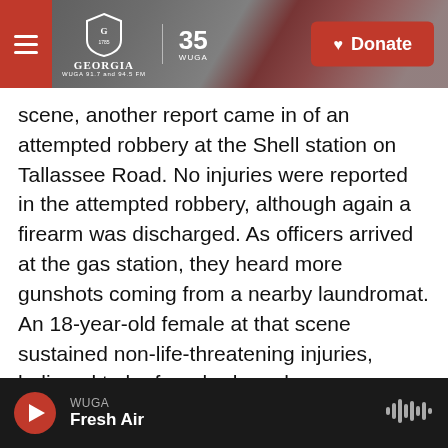University of Georgia WUGA 91.7 and 94.5 FM | 35 WUGA | Donate
scene, another report came in of an attempted robbery at the Shell station on Tallassee Road. No injuries were reported in the attempted robbery, although again a firearm was discharged. As officers arrived at the gas station, they heard more gunshots coming from a nearby laundromat. An 18-year-old female at that scene sustained non-life-threatening injuries, believed to be from broken glass.
According to an ACCPD statement, officers located the Ortiz and engaged in a vehicle pursuit, followed by a foot chase. Ortiz was arrested and has been
WUGA | Fresh Air